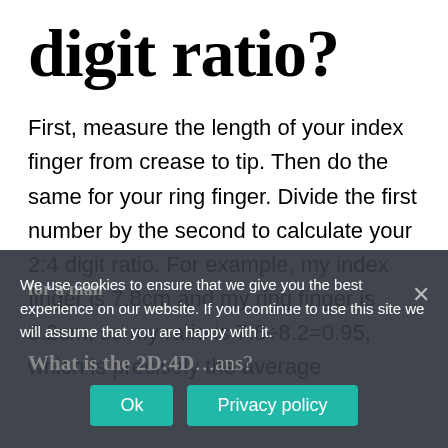digit ratio?
First, measure the length of your index finger from crease to tip. Then do the same for your ring finger. Divide the first number by the second to calculate your 2:4 digit ratio. For example, my index finger is 7.8cm and my ring finger is 8.2cm, so my ratio is 7.8÷8.2=0.95, which is precisely the average for a man
What is the 2D:4D … ans?
We use cookies to ensure that we give you the best experience on our website. If you continue to use this site we will assume that you are happy with it.